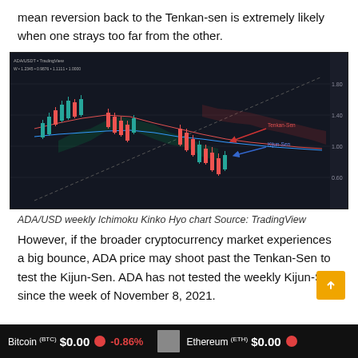mean reversion back to the Tenkan-sen is extremely likely when one strays too far from the other.
[Figure (other): ADA/USD weekly Ichimoku Kinko Hyo chart showing candlestick price action with Kumo cloud, Tenkan-sen and Kijun-sen lines, and annotated arrows pointing to Tenkan-Sen and Kijun-Sen levels. Source: TradingView]
ADA/USD weekly Ichimoku Kinko Hyo chart Source: TradingView
However, if the broader cryptocurrency market experiences a big bounce, ADA price may shoot past the Tenkan-Sen to test the Kijun-Sen. ADA has not tested the weekly Kijun-Sen since the week of November 8, 2021.
Bitcoin (BTC) $0.00  -0.86%   Ethereum (ETH) $0.00